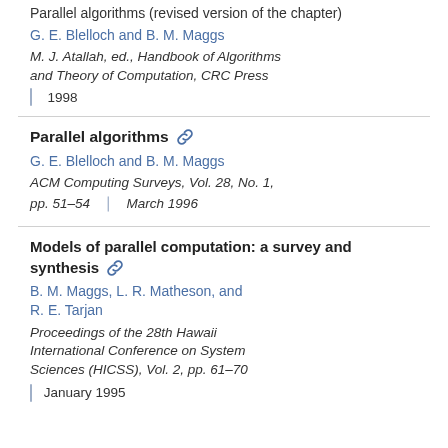Parallel algorithms (revised version of the chapter)
G. E. Blelloch and B. M. Maggs
M. J. Atallah, ed., Handbook of Algorithms and Theory of Computation, CRC Press
1998
Parallel algorithms
G. E. Blelloch and B. M. Maggs
ACM Computing Surveys, Vol. 28, No. 1, pp. 51–54
March 1996
Models of parallel computation: a survey and synthesis
B. M. Maggs, L. R. Matheson, and R. E. Tarjan
Proceedings of the 28th Hawaii International Conference on System Sciences (HICSS), Vol. 2, pp. 61–70
January 1995